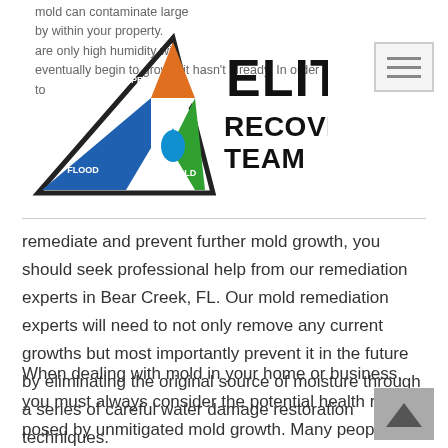Elite Carpet Recovery Team — Bear Creek FL mold remediation
[Figure (logo): Elite Carpet Recovery Team logo — triangle with orange/blue/green sections labeled CARPET, FLOOD, MOLD, with bold text ELITE RECOVERY TEAM]
remediate and prevent further mold growth, you should seek professional help from our remediation experts in Bear Creek, FL. Our mold remediation experts will need to not only remove any current growths but most importantly prevent it in the future by eliminating the original source of moisture through a series of careful water damage restoration techniques.
When dealing with mold in your home or business, you must always consider the potential health risks posed by unmitigated mold growth. Many people are very sensitive to